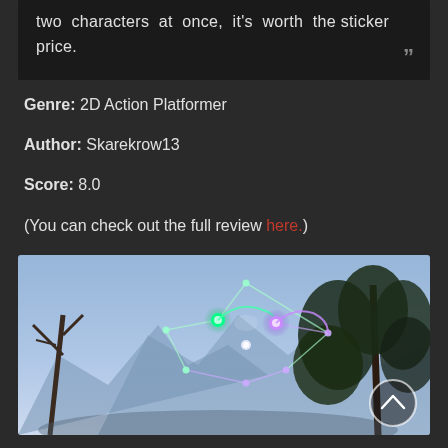two characters at once, it's worth the sticker price. ”
Genre: 2D Action Platformer
Author: Skarekrow13
Score: 8.0
(You can check out the full review here.)
[Figure (screenshot): Game screenshot showing two glowing character energy orbs (green and purple) connected by geometric lines forming a diamond/polygon shape in a misty fantasy landscape with trees and rocky cliffs. A scroll-up button is visible in the bottom right corner.]